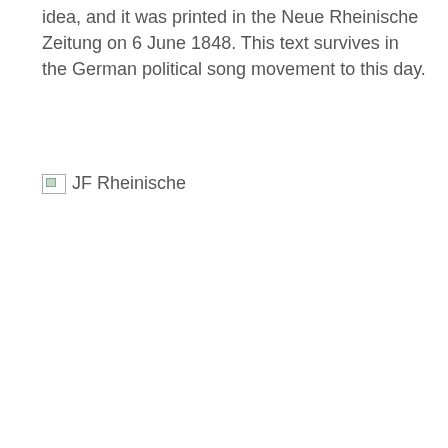idea, and it was printed in the Neue Rheinische Zeitung on 6 June 1848. This text survives in the German political song movement to this day.
[Figure (other): Broken image placeholder with alt text 'JF Rheinische']